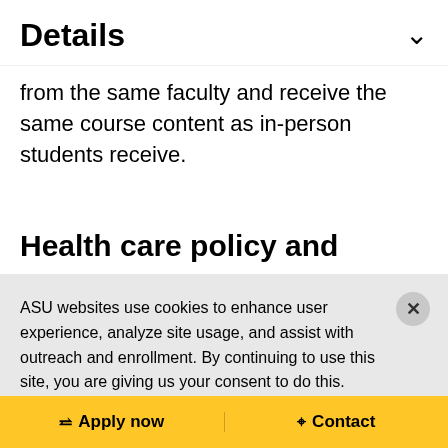Details
from the same faculty and receive the same course content as in-person students receive.
Health care policy and
ASU websites use cookies to enhance user experience, analyze site usage, and assist with outreach and enrollment. By continuing to use this site, you are giving us your consent to do this. Learn more about cookies on ASU websites in our Privacy Statement.
Ok, I agree
Apply now   Contact